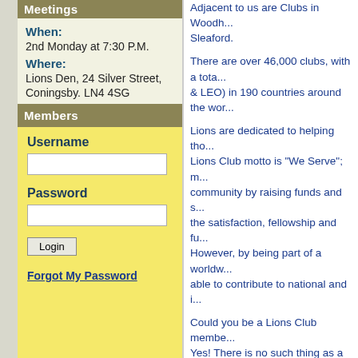Meetings
When:
2nd Monday at 7:30 P.M.
Where:
Lions Den, 24 Silver Street, Coningsby. LN4 4SG
Members
Username
Password
Login
Forgot My Password
Adjacent to us are Clubs in Woodhall Spa and Sleaford.
There are over 46,000 clubs, with a tota... & LEO) in 190 countries around the wor...
Lions are dedicated to helping tho... Lions Club motto is "We Serve"; m... community by raising funds and s... the satisfaction, fellowship and fu... However, by being part of a worldw... able to contribute to national and i...
Could you be a Lions Club membe... Yes! There is no such thing as a ty... have no political or religious bias a... of the community. As with any gro... members all of whom add someth... time they can, when they can; clu... home or working life, those shoul...
Interested?
Click here to see how to get in tou...
We meet at the Lions Den, 24 Silv... month at 7:30pm However until C... meeting. Please contact 01526 34... about Lions or would like some he...